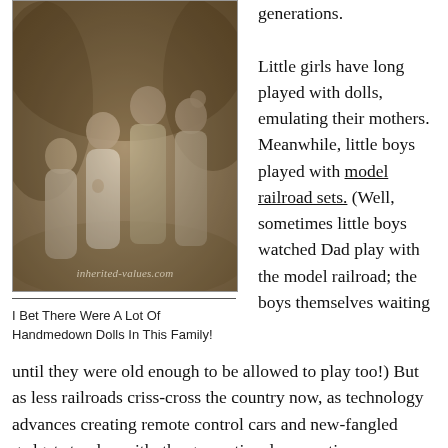[Figure (photo): Sepia-toned vintage photograph of several young girls in white dresses, appearing to be from early 20th century. Watermark reads 'inherited-values.com'.]
I Bet There Were A Lot Of Handmedown Dolls In This Family!
generations.

Little girls have long played with dolls, emulating their mothers. Meanwhile, little boys played with model railroad sets. (Well, sometimes little boys watched Dad play with the model railroad; the boys themselves waiting until they were old enough to be allowed to play too!) But as less railroads criss-cross the country now, as technology advances creating remote control cars and new-fangled gadgets to play with, the generational connections once made via model trains and even other transportation toys has nearly